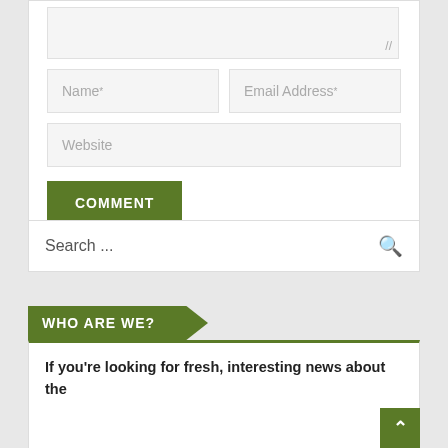[Figure (screenshot): Web form with Name, Email Address, Website input fields and a COMMENT submit button]
[Figure (screenshot): Search bar with magnifying glass icon]
WHO ARE WE?
If you're looking for fresh, interesting news about the